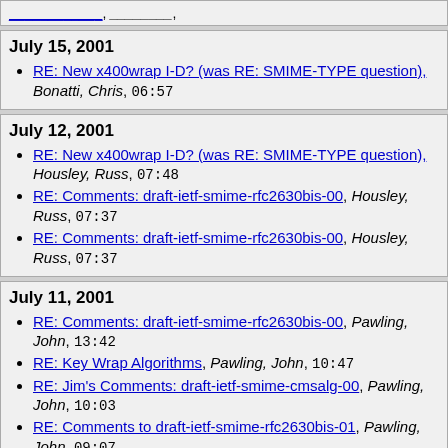(truncated top link)
July 15, 2001
RE: New x400wrap I-D? (was RE: SMIME-TYPE question), Bonatti, Chris, 06:57
July 12, 2001
RE: New x400wrap I-D? (was RE: SMIME-TYPE question), Housley, Russ, 07:48
RE: Comments: draft-ietf-smime-rfc2630bis-00, Housley, Russ, 07:37
RE: Comments: draft-ietf-smime-rfc2630bis-00, Housley, Russ, 07:37
July 11, 2001
RE: Comments: draft-ietf-smime-rfc2630bis-00, Pawling, John, 13:42
RE: Key Wrap Algorithms, Pawling, John, 10:47
RE: Jim's Comments: draft-ietf-smime-cmsalg-00, Pawling, John, 10:03
RE: Comments to draft-ietf-smime-rfc2630bis-01, Pawling, John, 09:07
RE: Comments to draft-ietf-smime-rfc2630bis-01, Peter Gutmann, 08:29
RE: Comments to draft-ietf-smime-rfc2630bis-01 (truncated)